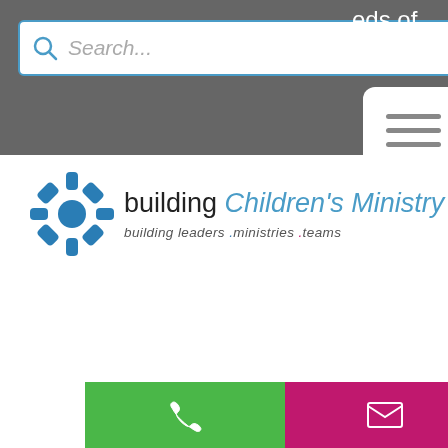[Figure (screenshot): Navigation bar with search box and hamburger menu button]
[Figure (logo): Building Children's Ministry logo with gear icon and tagline: building leaders .ministries .teams]
father and he shared with me what a friend of his has started doing. Instead of spending a bunch of money on "stuff" for his kids, he has started spending the money on making memories with them.
[Figure (screenshot): Mobile footer bar with phone, email, and Facebook icons]